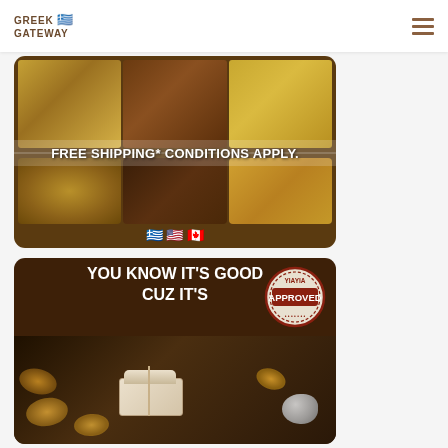GREEK GATEWAY
[Figure (photo): Display of Greek pastries/baklava trays with text overlay: FREE SHIPPING* CONDITIONS APPLY. and Greek, US, Canadian flag emojis at bottom.]
[Figure (photo): Promotional banner with dark brown background: YOU KNOW IT'S GOOD CUZ IT'S, with YIAYIA APPROVED stamp, gift box, and cookies/pastries in background.]